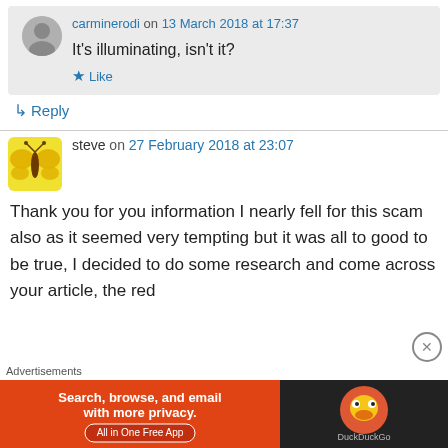carminerodi on 13 March 2018 at 17:37
It's illuminating, isn't it?
★ Like
↳ Reply
steve on 27 February 2018 at 23:07
Thank you for you information I nearly fell for this scam also as it seemed very tempting but it was all to good to be true, I decided to do some research and come across your article, the red
Advertisements
[Figure (screenshot): DuckDuckGo advertisement banner: orange left section with text 'Search, browse, and email with more privacy. All in One Free App' and dark right section with DuckDuckGo duck logo]